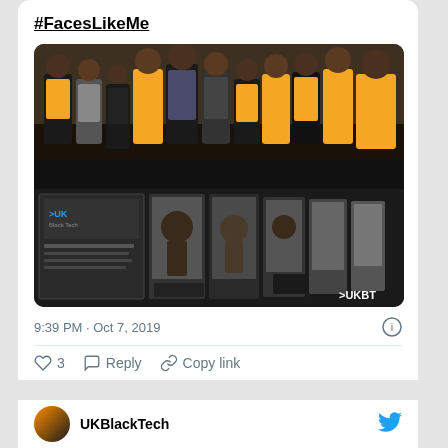#FacesLikeMe
[Figure (photo): Top: Group photo of Black professionals mostly wearing orange polo shirts posing together indoors. Bottom: Black and white photo exhibition display with portrait panels and >UKBT watermark.]
9:39 PM · Oct 7, 2019
♡ 3   Reply   Copy link
Explore what's happening on Twitter
UKBlackTech